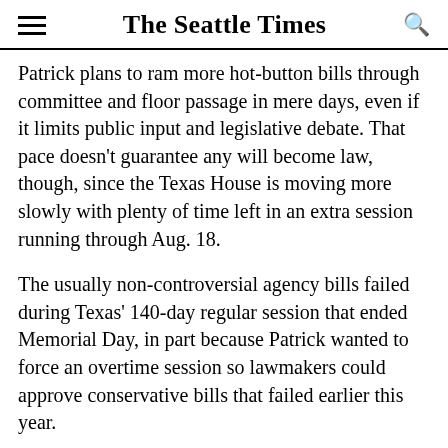The Seattle Times
Patrick plans to ram more hot-button bills through committee and floor passage in mere days, even if it limits public input and legislative debate. That pace doesn't guarantee any will become law, though, since the Texas House is moving more slowly with plenty of time left in an extra session running through Aug. 18.
The usually non-controversial agency bills failed during Texas' 140-day regular session that ended Memorial Day, in part because Patrick wanted to force an overtime session so lawmakers could approve conservative bills that failed earlier this year.
Republican Gov. Greg Abbott complied. He called